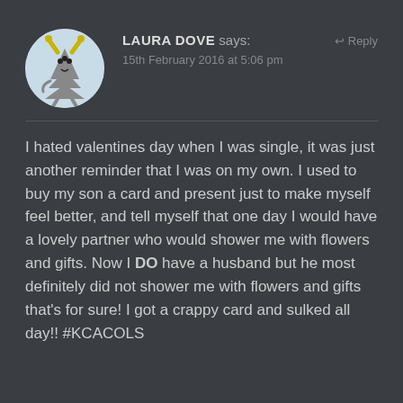[Figure (illustration): Circular avatar image with light blue background showing a cartoon monster/creature — a grey triangular tree-like body with multiple eyes, yellow horns, and stick legs]
LAURA DOVE says:
15th February 2016 at 5:06 pm
↩ Reply
I hated valentines day when I was single, it was just another reminder that I was on my own. I used to buy my son a card and present just to make myself feel better, and tell myself that one day I would have a lovely partner who would shower me with flowers and gifts. Now I DO have a husband but he most definitely did not shower me with flowers and gifts that's for sure! I got a crappy card and sulked all day!! #KCACOLS